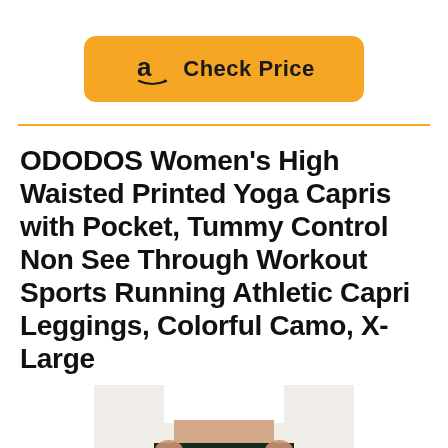[Figure (other): Amazon 'Check Price' button with orange/yellow background, Amazon logo (stylized 'a' with arrow), and bold text 'Check Price']
ODODOS Women's High Waisted Printed Yoga Capris with Pocket, Tummy Control Non See Through Workout Sports Running Athletic Capri Leggings, Colorful Camo, X-Large
[Figure (photo): Photo of a woman wearing white crop top and colorful camo print capri leggings, showing waistband detail]